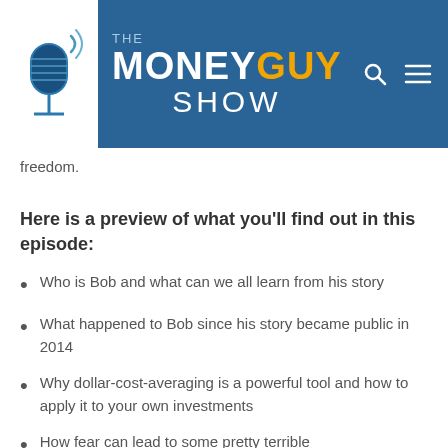THE MONEY GUY SHOW
freedom.
Here is a preview of what you'll find out in this episode:
Who is Bob and what can we all learn from his story
What happened to Bob since his story became public in 2014
Why dollar-cost-averaging is a powerful tool and how to apply it to your own investments
How fear can lead to some pretty terrible financial decisions and how that...